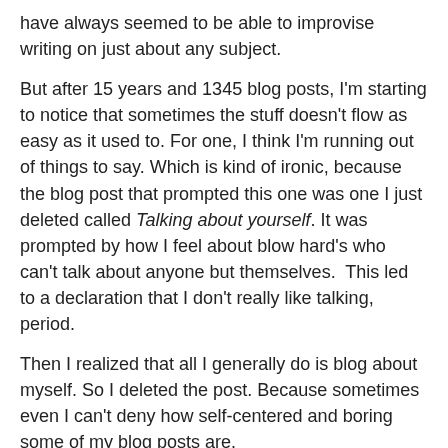have always seemed to be able to improvise writing on just about any subject.
But after 15 years and 1345 blog posts, I'm starting to notice that sometimes the stuff doesn't flow as easy as it used to. For one, I think I'm running out of things to say. Which is kind of ironic, because the blog post that prompted this one was one I just deleted called Talking about yourself. It was prompted by how I feel about blow hard's who can't talk about anyone but themselves.  This led to a declaration that I don't really like talking, period.
Then I realized that all I generally do is blog about myself. So I deleted the post. Because sometimes even I can't deny how self-centered and boring some of my blog posts are.
This is where feedback (something I truly hate) would be nice. When people used to read my blog and comment, I at least had some indication that I was being entertaining or educational or thought provoking. But no one but spammers leave comments anymore. And the joke is on them. Since no one reads my blog, no one is reading their spam either.